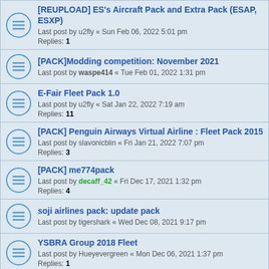[REUPLOAD] ES's Aircraft Pack and Extra Pack (ESAP, ESXP)
Last post by u2fly « Sun Feb 06, 2022 5:01 pm
Replies: 1
[PACK]Modding competition: November 2021
Last post by waspe414 « Tue Feb 01, 2022 1:31 pm
E-Fair Fleet Pack 1.0
Last post by u2fly « Sat Jan 22, 2022 7:19 am
Replies: 11
[PACK] Penguin Airways Virtual Airline : Fleet Pack 2015
Last post by slavonicblin « Fri Jan 21, 2022 7:07 pm
Replies: 3
[PACK] me774pack
Last post by decaff_42 « Fri Dec 17, 2021 1:32 pm
Replies: 4
soji airlines pack: update pack
Last post by tigershark « Wed Dec 08, 2021 9:17 pm
YSBRA Group 2018 Fleet
Last post by Hueyevergreen « Mon Dec 06, 2021 1:37 pm
Replies: 1
DC-9/MD-90 Series
Last post by decaff_42 « Tue Nov 23, 2021 5:55 pm
Replies: 6
[PACK] HQPGAC v20211116
Last post by decaff_42 « Thu Nov 18, 2021 4:00 am